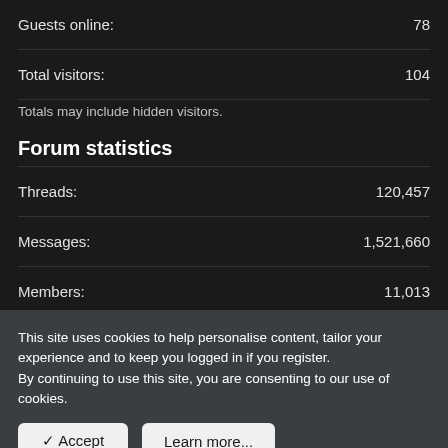Guests online: 78
Total visitors: 104
Totals may include hidden visitors.
Forum statistics
Threads: 120,457
Messages: 1,521,660
Members: 11,013
Latest member: Midnight1
This site uses cookies to help personalise content, tailor your experience and to keep you logged in if you register.
By continuing to use this site, you are consenting to our use of cookies.